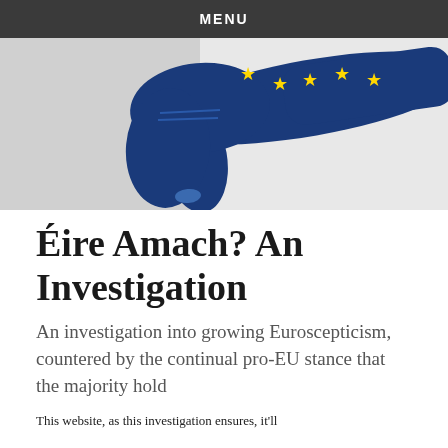MENU
[Figure (photo): A hand painted with the EU flag (blue with yellow stars) giving a thumbs down gesture against a light grey background.]
Éire Amach? An Investigation
An investigation into growing Euroscepticism, countered by the continual pro-EU stance that the majority hold
This website, as this investigation ensures, it'll...